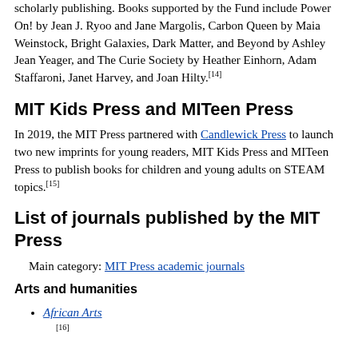scholarly publishing. Books supported by the Fund include Power On! by Jean J. Ryoo and Jane Margolis, Carbon Queen by Maia Weinstock, Bright Galaxies, Dark Matter, and Beyond by Ashley Jean Yeager, and The Curie Society by Heather Einhorn, Adam Staffaroni, Janet Harvey, and Joan Hilty.[14]
MIT Kids Press and MITeen Press
In 2019, the MIT Press partnered with Candlewick Press to launch two new imprints for young readers, MIT Kids Press and MITeen Press to publish books for children and young adults on STEAM topics.[15]
List of journals published by the MIT Press
Main category: MIT Press academic journals
Arts and humanities
African Arts